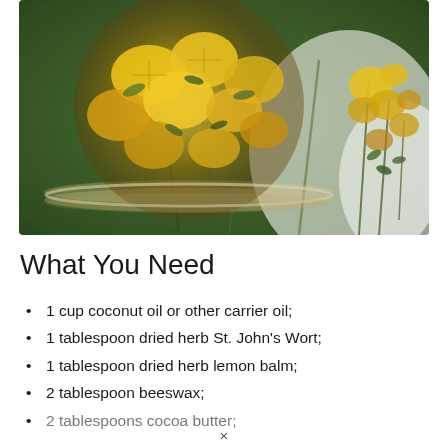[Figure (photo): Overhead photo of a glass jar filled with dried yellow and green herbs (calendula/St. John's Wort flowers) with additional yellow flowering herb sprigs beside it on a white background.]
What You Need
1 cup coconut oil or other carrier oil;
1 tablespoon dried herb St. John's Wort;
1 tablespoon dried herb lemon balm;
2 tablespoon beeswax;
2 tablespoons cocoa butter;
×